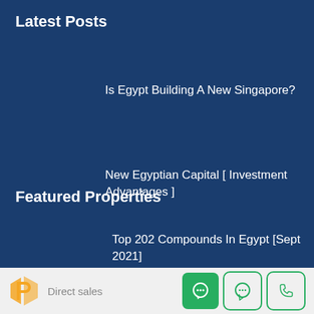Latest Posts
Is Egypt Building A New Singapore?
New Egyptian Capital [ Investment Advantages ]
Top 202 Compounds In Egypt [Sept 2021]
Featured Properties
Direct sales